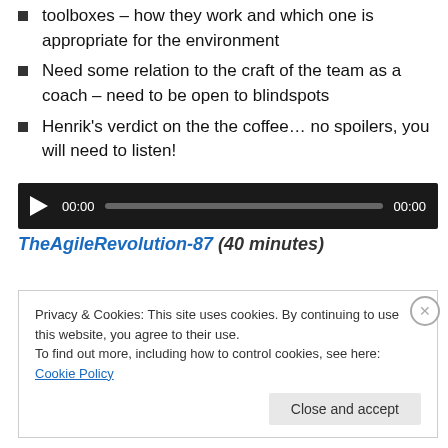toolboxes – how they work and which one is appropriate for the environment
Need some relation to the craft of the team as a coach – need to be open to blindspots
Henrik's verdict on the the coffee… no spoilers, you will need to listen!
[Figure (screenshot): Audio player with play button, time display 00:00, progress bar, and end time 00:00 on dark background]
TheAgileRevolution-87 (40 minutes)
Privacy & Cookies: This site uses cookies. By continuing to use this website, you agree to their use.
To find out more, including how to control cookies, see here: Cookie Policy
Close and accept